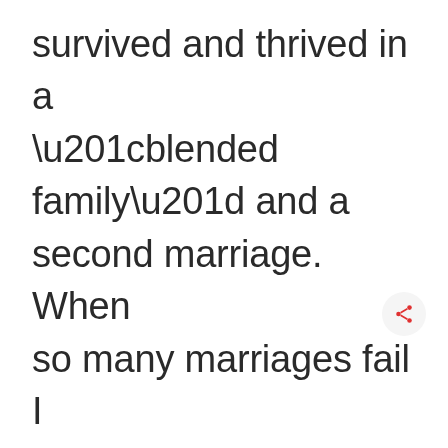survived and thrived in a “blended family” and a second marriage.  When so many marriages fail I can tell you truly that having a Christ centered marriage has been essential for us to have a long term relationship